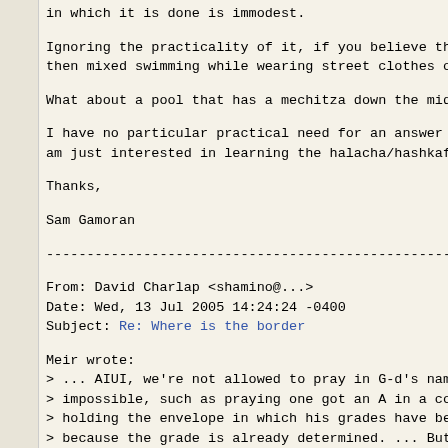in which it is done is immodest.
Ignoring the practicality of it, if you believe the l
then mixed swimming while wearing street clothes ough
What about a pool that has a mechitza down the middle
I have no particular practical need for an answer to
am just interested in learning the halacha/hashkafah.
Thanks,
Sam Gamoran
------------------------------------------------------------------------
From: David Charlap <shamino@...>
Date: Wed, 13 Jul 2005 14:24:24 -0400
Subject: Re: Where is the border
Meir wrote:
> ... AIUI, we're not allowed to pray in G-d's name f
> impossible, such as praying one got an A in a cours
> holding the envelope in which his grades have been
> because the grade is already determined. ... But we
> for miracles.  So if we know someone who a) has adv
> and kidney failure and liver failure and heart dete
> still pray for his recovery, and although it would
> it may occur.  But does this mean that if he just